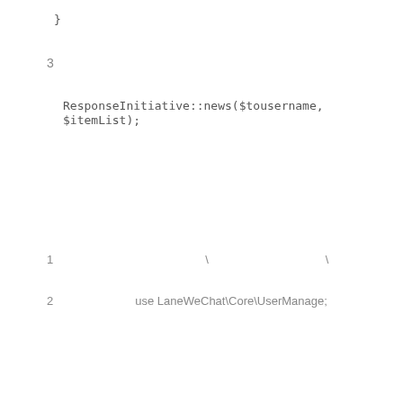}
3
ResponseInitiative::news($tousername, $itemList);
1　　　　　　　　　　　　　\　　　　　　　　　　\
2　　　　　　　use LaneWeChat\Core\UserManage;